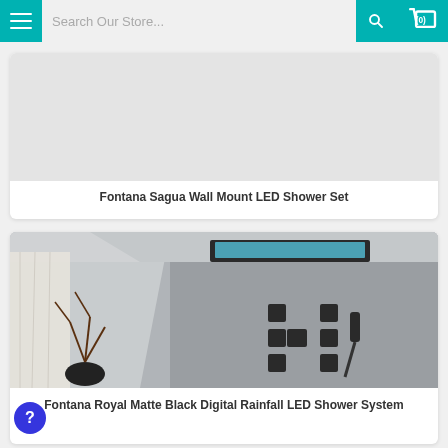Search Our Store...
Fontana Sagua Wall Mount LED Shower Set
[Figure (photo): Photo of a shower product - Fontana Royal Matte Black Digital Rainfall LED Shower System mounted on a grey wall with body jets and handheld shower]
Fontana Royal Matte Black Digital Rainfall LED Shower System